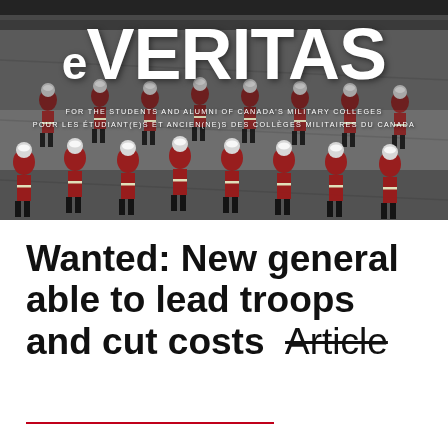[Figure (photo): Military cadets in red uniforms and white hats standing in formation on a parade ground, viewed from above, with the eVERITAS magazine banner overlay.]
Wanted: New general able to lead troops and cut costs  Article